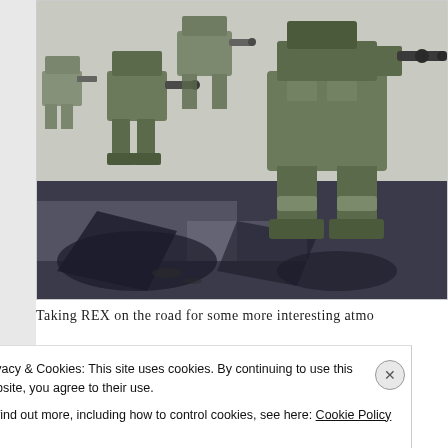[Figure (photo): Military robots (REX) lined up on a road or paved surface, viewed from low angle, casting shadows. The robots appear to be camouflage-colored bipedal machines with weapons/equipment mounted on them, photographed outdoors in bright sunlight.]
Taking REX on the road for some more interesting atmo
Privacy & Cookies: This site uses cookies. By continuing to use this website, you agree to their use.
To find out more, including how to control cookies, see here: Cookie Policy
Close and accept